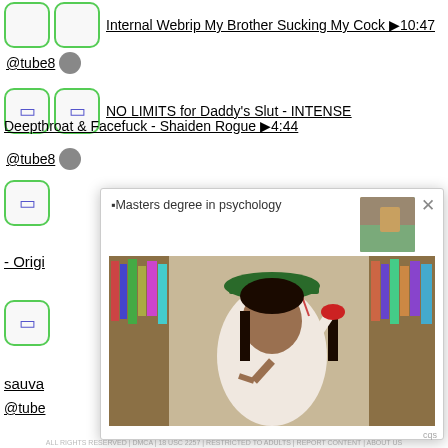Internal Webrip My Brother Sucking My Cock ▶10:47
@tube8
NO LIMITS for Daddy's Slut - INTENSE Deepthroat & Facefuck - Shaiden Rogue ▶4:44
@tube8
[Figure (screenshot): Popup advertisement showing a woman in graduation cap and gown posing in a library, with text 'Masters degree in psychology' and a thumbnail image in the top right corner. A close button (X) is visible.]
Movie - Origi
sauva ►...59
@tube